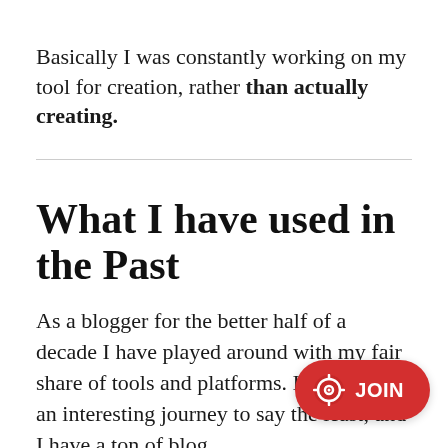Basically I was constantly working on my tool for creation, rather than actually creating.
What I have used in the Past
As a blogger for the better half of a decade I have played around with my fair share of tools and platforms. It has been an interesting journey to say the least, and I have a ton of blog